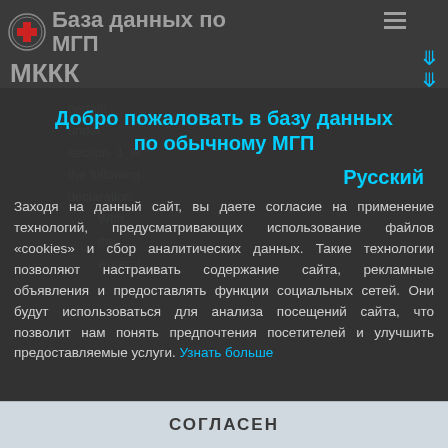База данных по МГП — МККК
certain under section 1 is the following declaration: With the excerpt
Добро пожаловать в базу данных по обычному МГП
Русский
Заходя на данный сайт, вы даете согласие на применение технологий, предусматривающих использование файлов «cookies» и сбор аналитических данных. Такие технологии позволяют настраивать содержание сайта, рекламные объявления и предоставлять функции социальных сетей. Они будут использоваться для анализа посещений сайта, что позволит нам понять предпочтения посетителей и улучшить предоставляемые услуги. Узнать больше
СОГЛАСЕН